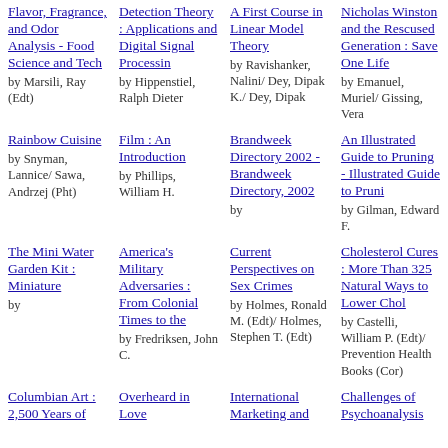Flavor, Fragrance, and Odor Analysis - Food Science and Tech by Marsili, Ray (Edt)
Detection Theory : Applications and Digital Signal Processin by Hippenstiel, Ralph Dieter
A First Course in Linear Model Theory by Ravishanker, Nalini/ Dey, Dipak K./ Dey, Dipak
Nicholas Winston and the Rescused Generation : Save One Life by Emanuel, Muriel/ Gissing, Vera
Rainbow Cuisine by Snyman, Lannice/ Sawa, Andrzej (Pht)
Film : An Introduction by Phillips, William H.
Brandweek Directory 2002 - Brandweek Directory, 2002 by
An Illustrated Guide to Pruning - Illustrated Guide to Pruni by Gilman, Edward F.
The Mini Water Garden Kit : Miniature by
America's Military Adversaries : From Colonial Times to the by Fredriksen, John C.
Current Perspectives on Sex Crimes by Holmes, Ronald M. (Edt)/ Holmes, Stephen T. (Edt)
Cholesterol Cures : More Than 325 Natural Ways to Lower Chol by Castelli, William P. (Edt)/ Prevention Health Books (Cor)
Columbian Art : 2,500 Years of
Overheard in Love
International Marketing and
Challenges of Psychoanalysis